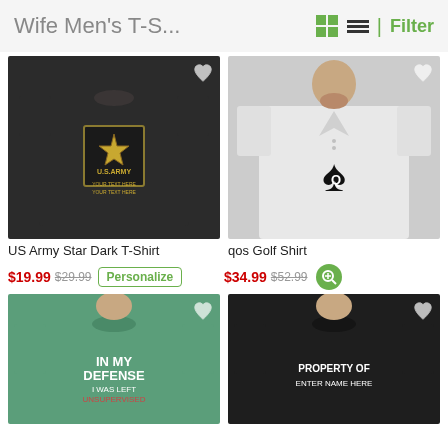Wife Men's T-S...
[Figure (photo): Man wearing black US Army Star Dark T-Shirt with US Army logo and 'YOUR TEXT HERE' text]
[Figure (photo): Man wearing white qos Golf Shirt with Queen of Spades card symbol]
US Army Star Dark T-Shirt
qos Golf Shirt
$19.99  $29.99  Personalize
$34.99  $52.99
[Figure (photo): Man wearing teal/green t-shirt with 'IN MY DEFENSE I WAS LEFT UNSUPERVISED' text]
[Figure (photo): Man wearing black t-shirt with 'PROPERTY OF ENTER NAME HERE' text]